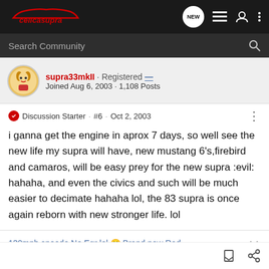celicasupra — navigation bar with logo and icons
Search Community
supra33mkII · Registered
Joined Aug 6, 2003 · 1,108 Posts
Discussion Starter · #6 · Oct 2, 2003
i ganna get the engine in aprox 7 days, so well see the new life my supra will have, new mustang 6's,firebird and camaros, will be easy prey for the new supra :evil: hahaha, and even the civics and such will be much easier to decimate hahaha lol, the 83 supra is once again reborn with new stronger life. lol
130mph speedo,No Egr lol 😀 Brand new Rad